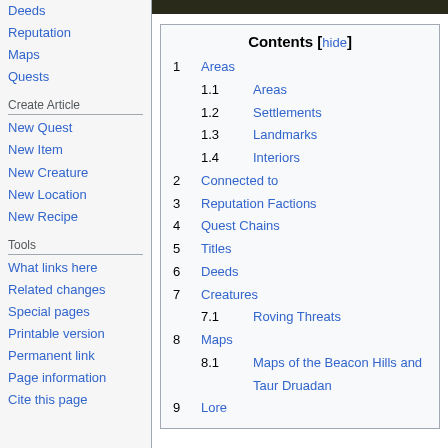Deeds
Reputation
Maps
Quests
Create Article
New Quest
New Item
New Creature
New Location
New Recipe
Tools
What links here
Related changes
Special pages
Printable version
Permanent link
Page information
Cite this page
| Contents |
| --- |
| 1 Areas |
| 1.1 Areas |
| 1.2 Settlements |
| 1.3 Landmarks |
| 1.4 Interiors |
| 2 Connected to |
| 3 Reputation Factions |
| 4 Quest Chains |
| 5 Titles |
| 6 Deeds |
| 7 Creatures |
| 7.1 Roving Threats |
| 8 Maps |
| 8.1 Maps of the Beacon Hills and Taur Druadan |
| 9 Lore |